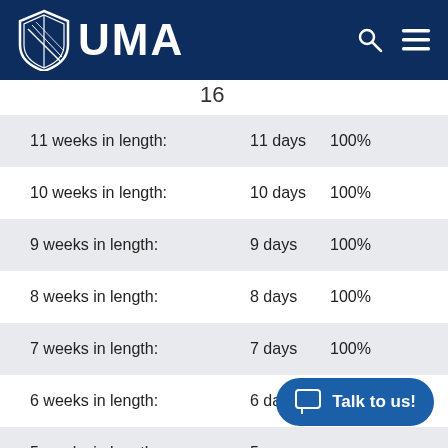UMA
16
|  |  |  |
| --- | --- | --- |
| 11 weeks in length: | 11 days | 100% |
| 10 weeks in length: | 10 days | 100% |
| 9 weeks in length: | 9 days | 100% |
| 8 weeks in length: | 8 days | 100% |
| 7 weeks in length: | 7 days | 100% |
| 6 weeks in length: | 6 days | 100% |
| 5 weeks in length: | 5 days |  |
Talk to us!